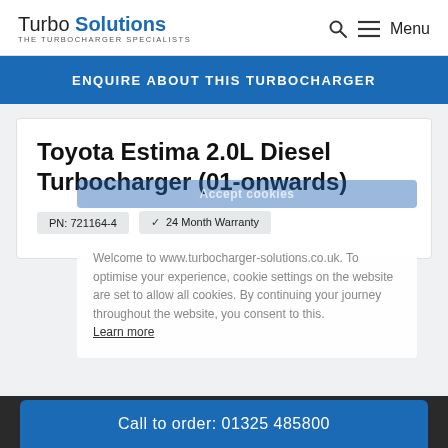Turbo Solutions – THE TURBOCHARGER SPECIALISTS | Menu
ENQUIRE ABOUT THIS TURBOCHARGER
Toyota Estima 2.0L Diesel Turbocharger (01-onwards)
PN: 721164-4   ✓ 24 Month Warranty
Welcome to www.turbocharger-solutions.co.uk. To optimise your experience, cookie settings on the website are set to allow all cookies. By continuing your journey throughout the website, you consent to this. Learn more
Call to order: 01325 485800